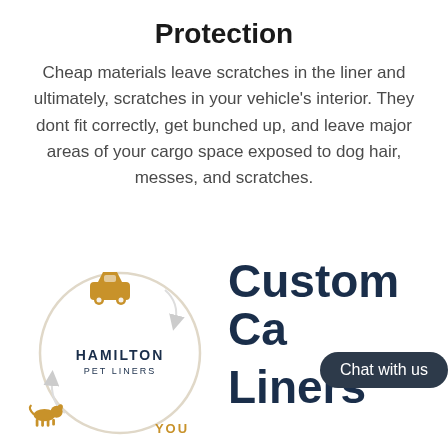Protection
Cheap materials leave scratches in the liner and ultimately, scratches in your vehicle's interior. They dont fit correctly, get bunched up, and leave major areas of your cargo space exposed to dog hair, messes, and scratches.
[Figure (logo): Hamilton Pet Liners circular logo with car icon at top, dog icon at bottom-left, and YOU text at bottom-right, with circular arrows around the circle]
Custom Cargo Liners